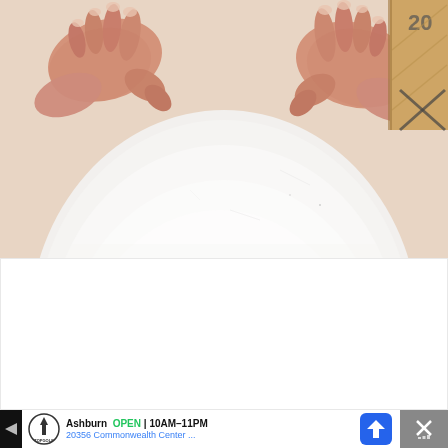[Figure (photo): Overhead view of two hands pressing down on or shaping a large white rounded object (possibly dough or foam board), with a cardboard box visible in the upper right corner. The surface below the hands is white/cream colored.]
[Figure (other): White advertisement placeholder/blank space area below the photo.]
Ashburn  OPEN  10AM–11PM
20356 Commonwealth Center ...